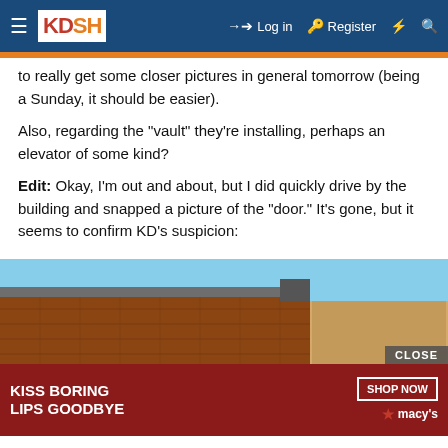KDSH — Log in  Register
to really get some closer pictures in general tomorrow (being a Sunday, it should be easier).
Also, regarding the "vault" they're installing, perhaps an elevator of some kind?
Edit: Okay, I'm out and about, but I did quickly drive by the building and snapped a picture of the "door." It's gone, but it seems to confirm KD's suspicion:
[Figure (photo): Street-level photo looking up at a brick building exterior against a blue sky, with a plywood-covered opening visible. An advertisement overlay reads 'KISS BORING LIPS GOODBYE' with a woman's face, a 'SHOP NOW' button, and the Macy's logo. A 'CLOSE' button appears above the ad.]